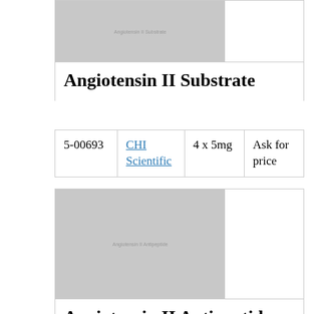[Figure (photo): Placeholder image for Angiotensin II Substrate product, gray rectangle with small text]
Angiotensin II Substrate
| 5-00693 | CHI Scientific | 4 x 5mg | Ask for price |
[Figure (photo): Placeholder image for Angiotensin II Antipeptide product, gray rectangle with small text]
Angiotensin II Antipeptide
| 20- |  | EUR 384.00
EUR | 10 mg |